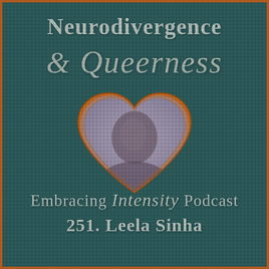Neurodivergence
& Queerness
[Figure (illustration): A heart shape with an orange/brown border containing a faded portrait photo of a person, set against a dark teal pixelated background]
Embracing Intensity Podcast
251. Leela Sinha